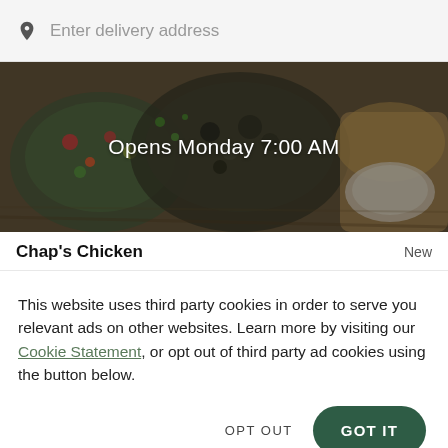Enter delivery address
[Figure (photo): Food photo showing various dishes including salads and bread on a wooden table, with a dark overlay]
Opens Monday 7:00 AM
Chap's Chicken
New
This website uses third party cookies in order to serve you relevant ads on other websites. Learn more by visiting our Cookie Statement, or opt out of third party ad cookies using the button below.
OPT OUT
GOT IT